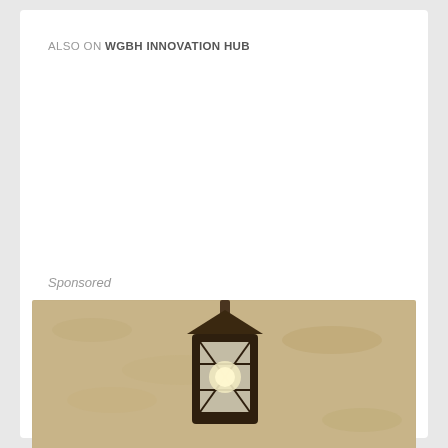ALSO ON WGBH INNOVATION HUB
[Figure (screenshot): Two article cards in a carousel. Left card: text 'rs ago • 1 comment' and title 'Come Fly With Me - Reinventing Travel After ...' with navigation arrows. Right card: text '2 years ag' and title 'Global Ris a Global Pandemic'.]
Sponsored
[Figure (photo): Outdoor lantern/light fixture mounted on a textured stone or stucco wall.]